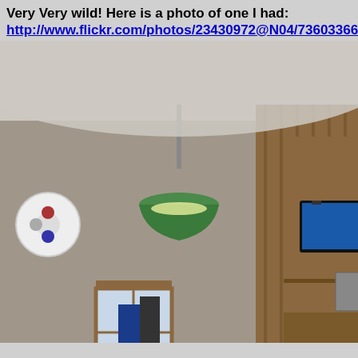Very Very wild!  Here is a photo of one I had:
http://www.flickr.com/photos/23430972@N04/73603366698
[Figure (photo): Interior room filled with railroad collectibles and memorabilia, including a green pendant lamp hanging from the ceiling, a flat-screen TV on the wall, a 'DO NOT SPOT RAIL EQUIPMENT BEYOND THIS POINT' sign, a railroad crossing sign reading 'PRIVATE R X R CROSSING NO TRESPASSING', a 'DERAIL' sign on the right, various old telephone and electronic equipment, traffic signal lights (red and green), and film reel decorations on the wall. The room has wood-paneled walls and a white ceiling.]